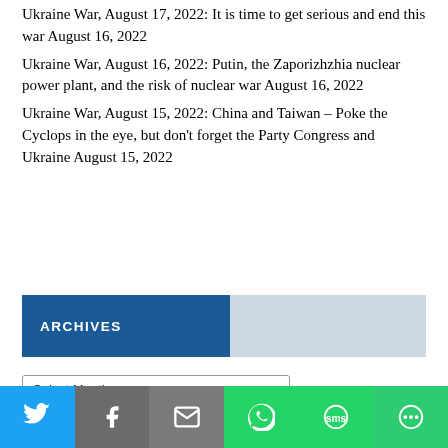Ukraine War, August 17, 2022: It is time to get serious and end this war August 16, 2022
Ukraine War, August 16, 2022: Putin, the Zaporizhzhia nuclear power plant, and the risk of nuclear war August 16, 2022
Ukraine War, August 15, 2022: China and Taiwan – Poke the Cyclops in the eye, but don't forget the Party Congress and Ukraine August 15, 2022
ARCHIVES
Select Month
FACEBOOK